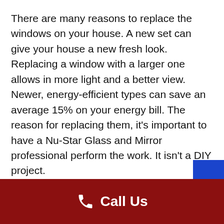There are many reasons to replace the windows on your house. A new set can give your house a new fresh look. Replacing a window with a larger one allows in more light and a better view. Newer, energy-efficient types can save an average 15% on your energy bill. The reason for replacing them, it's important to have a Nu-Star Glass and Mirror professional perform the work. It isn't a DIY project.
Call Us